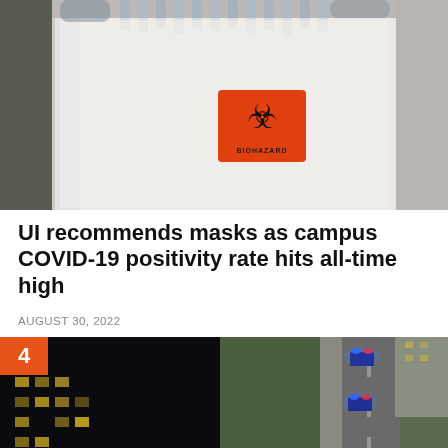[Figure (photo): A person in white protective gear holding a white plastic bag with an orange biohazard label, containing COVID-19 test samples.]
UI recommends masks as campus COVID-19 positivity rate hits all-time high
AUGUST 30, 2022
[Figure (photo): Aerial night view showing a dark building on the left and police vehicles with flashing blue lights on a street at night on the right side, numbered 4.]